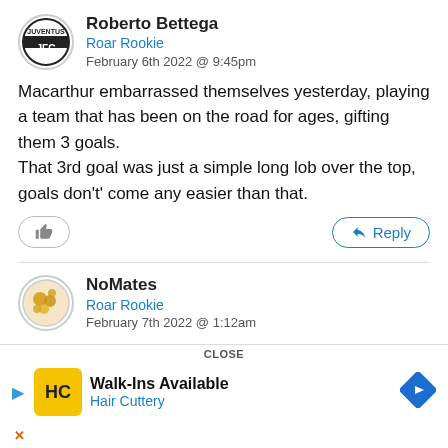Roberto Bettega
Roar Rookie
February 6th 2022 @ 9:45pm
Macarthur embarrassed themselves yesterday, playing a team that has been on the road for ages, gifting them 3 goals.
That 3rd goal was just a simple long lob over the top, goals don't' come any easier than that.
NoMates
Roar Rookie
February 7th 2022 @ 1:12am
I had my doubts about this match and believed the best we could get out of this was a draw.
It was nice to be proven wrong and Nix should have been d we have
[Figure (screenshot): Ad overlay for Hair Cuttery with 'Walk-Ins Available' text and CLOSE button]